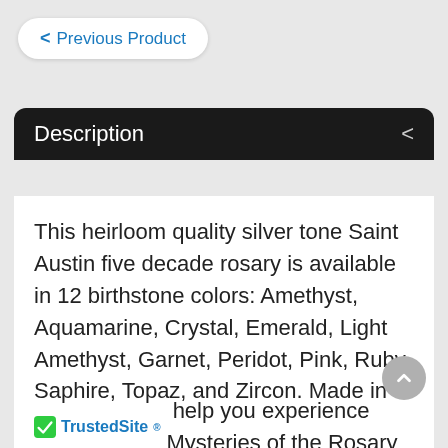< Previous Product
Description
This heirloom quality silver tone Saint Austin five decade rosary is available in 12 birthstone colors: Amethyst, Aquamarine, Crystal, Emerald, Light Amethyst, Garnet, Peridot, Pink, Ruby, Saphire, Topaz, and Zircon. Made in the USA by Bliss Mfg, the rosary is hand assembled with care in Rhode Island. Each one arrives in a velvet box, ready for gifting. The 6mm Czech firepolished glass tin cut beads are mounted on a silver plated chain and joined by a pewter center featuring Saint Austin . Simple in design pewter crucifix pendant nicely compliments these Catholic rosary beads. We are confident that you'll help you experience Mysteries of the Rosary
TrustedSite  help you experience Mysteries of the Rosary